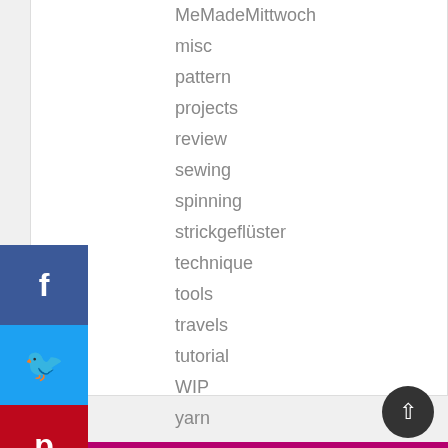MeMadeMittwoch
misc
pattern
projects
review
sewing
spinning
strickgeflüster
technique
tools
travels
tutorial
WIP
yarn